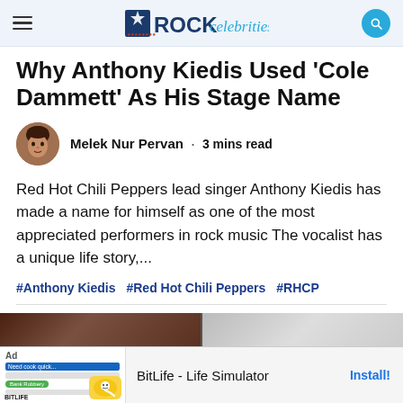ROCK celebrities
Why Anthony Kiedis Used ‘Cole Dammett’ As His Stage Name
Melek Nur Pervan · 3 mins read
Red Hot Chili Peppers lead singer Anthony Kiedis has made a name for himself as one of the most appreciated performers in rock music The vocalist has a unique life story,...
#Anthony Kiedis  #Red Hot Chili Peppers  #RHCP
[Figure (photo): Bottom image strip showing partial photos]
[Figure (screenshot): Ad banner for BitLife - Life Simulator app with Install button]